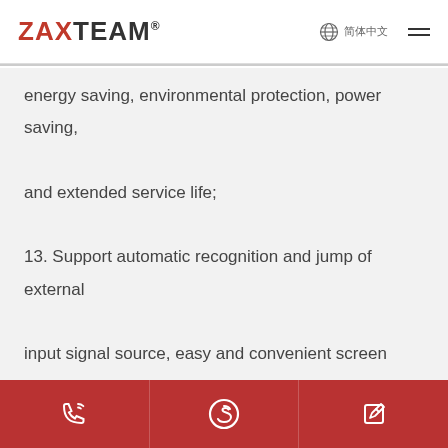ZAXTEAM® 简体中文 ☰
energy saving, environmental protection, power saving, and extended service life;
13. Support automatic recognition and jump of external input signal source, easy and convenient screen switching;
14. 2x10W speakers in front to prevent the deterioration of the sound effect due to the embedded environment;
Phone | Skype | Edit